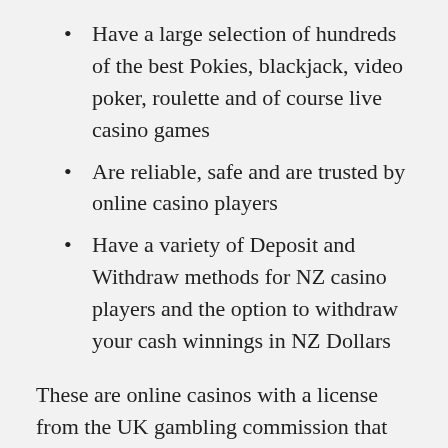Have a large selection of hundreds of the best Pokies, blackjack, video poker, roulette and of course live casino games
Are reliable, safe and are trusted by online casino players
Have a variety of Deposit and Withdraw methods for NZ casino players and the option to withdraw your cash winnings in NZ Dollars
These are online casinos with a license from the UK gambling commission that are accepting players from New Zealand. So if you are in Kiwi and want to play at an online casino but you are not sure where you don’t need to do any more googling.
Live Dealer Casinos for New…